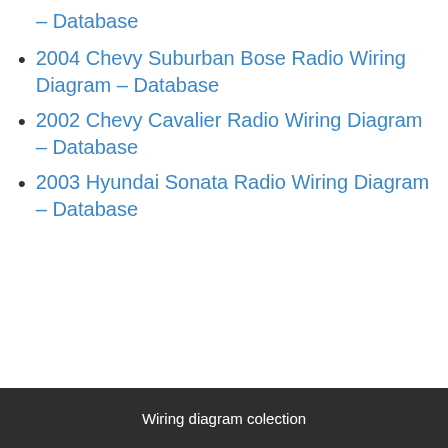– Database
2004 Chevy Suburban Bose Radio Wiring Diagram – Database
2002 Chevy Cavalier Radio Wiring Diagram – Database
2003 Hyundai Sonata Radio Wiring Diagram – Database
Wiring diagram colection